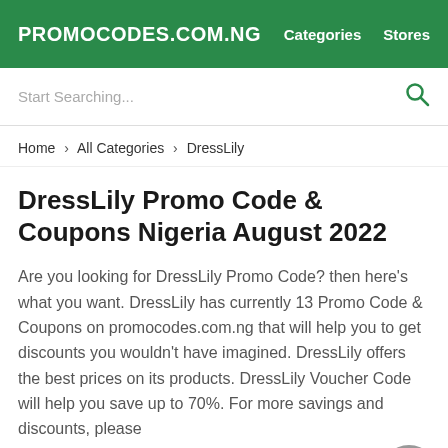PROMOCODES.COM.NG  Categories  Stores
Start Searching...
Home > All Categories > DressLily
DressLily Promo Code & Coupons Nigeria August 2022
Are you looking for DressLily Promo Code? then here's what you want. DressLily has currently 13 Promo Code & Coupons on promocodes.com.ng that will help you to get discounts you wouldn't have imagined. DressLily offers the best prices on its products. DressLily Voucher Code will help you save up to 70%. For more savings and discounts, please...